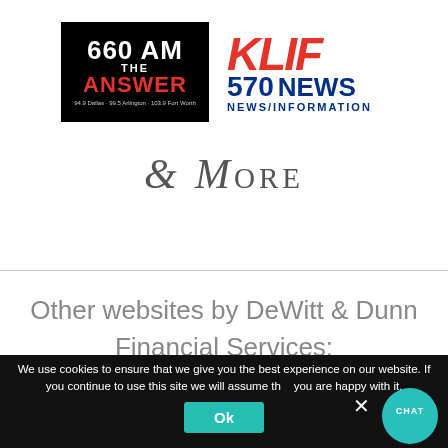[Figure (logo): 660 AM The Answer radio station logo — black background, white '660 AM', red 'ANSWER' text, small station frequencies below]
[Figure (logo): KLIF 570 News Information radio station logo — red italic KLIF letters, blue 570 NEWS INFORMATION text]
& More
Other websites by DeWitt & Dunn Financial Services:
We use cookies to ensure that we give you the best experience on our website. If you continue to use this site we will assume that you are happy with it.